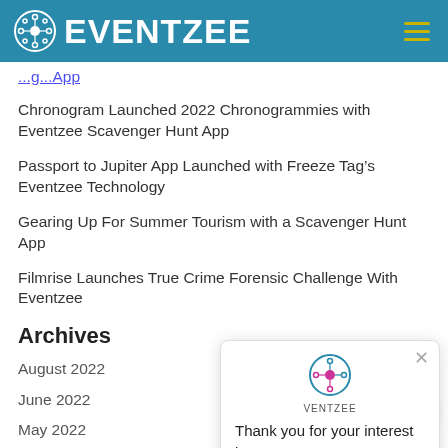EVENTZEE
Chronogram Launched 2022 Chronogrammies with Eventzee Scavenger Hunt App
Passport to Jupiter App Launched with Freeze Tag’s Eventzee Technology
Gearing Up For Summer Tourism with a Scavenger Hunt App
Filmrise Launches True Crime Forensic Challenge With Eventzee
Archives
August 2022
June 2022
May 2022
April 2022
[Figure (screenshot): Popup modal with Eventzee logo and message: Thank you for your interest in Eventzee!]
[Figure (other): Purple chat button in bottom right corner]